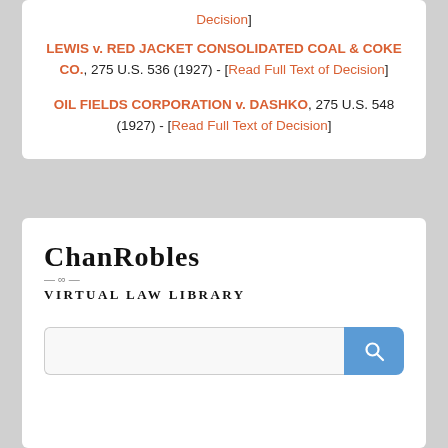Decision]
LEWIS v. RED JACKET CONSOLIDATED COAL & COKE CO., 275 U.S. 536 (1927) - [Read Full Text of Decision]
OIL FIELDS CORPORATION v. DASHKO, 275 U.S. 548 (1927) - [Read Full Text of Decision]
[Figure (logo): ChanRobles Virtual Law Library logo with search bar]
ChanRobles Virtual Law Library